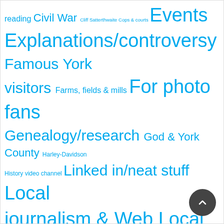reading Civil War Cliff Satterthwaite Cops & courts Events Explanations/controversy Famous York visitors Farms, fields & mills For photo fans Genealogy/research God & York County Harley-Davidson History video channel Linked in/neat stuff Local journalism & Web Local landmarks Longtime York families Made in York Mail bag Music & musicians Nostalgia & memories Notable images Pain & trauma People Pets & animals Quizzes & (fun) tests School days Small-town life Susquehanna, waterways The Pennsylvania Dutch Uncategorized Unsung/obscure sites War Wheels of York Women's history World War II York celebrities YorkEats: Hogmaw & such York Revs/pros York Safe & Lock York sports